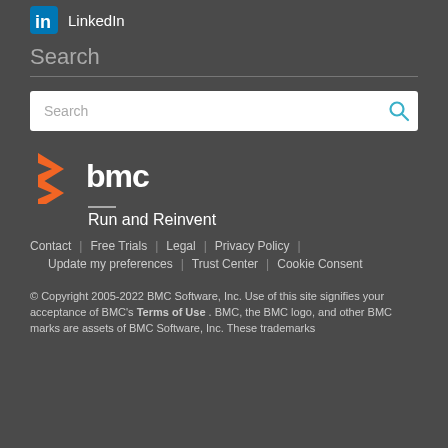LinkedIn
Search
[Figure (screenshot): Search input box with placeholder text 'Search' and a blue magnifying glass icon on the right]
[Figure (logo): BMC Software logo with orange chevron/arrow icon and white 'bmc' text, with tagline 'Run and Reinvent']
Contact | Free Trials | Legal | Privacy Policy | Update my preferences | Trust Center | Cookie Consent
© Copyright 2005-2022 BMC Software, Inc. Use of this site signifies your acceptance of BMC's Terms of Use . BMC, the BMC logo, and other BMC marks are assets of BMC Software, Inc. These trademarks